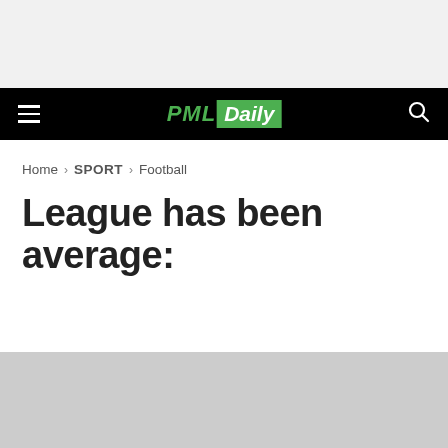[Figure (logo): PML Daily website header navigation bar with hamburger menu on left, PML Daily logo in center (PML in green italic, Daily in white on green background), and search icon on right, on a black background]
Home > SPORT > Football
League has been average: